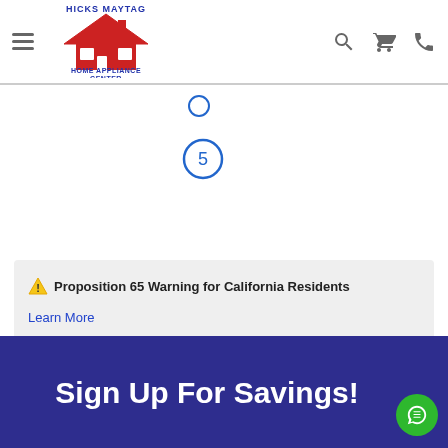Hicks Maytag Home Appliance Center
[Figure (other): Circled number 5 navigation indicator]
⚠ Proposition 65 Warning for California Residents
Learn More
Sign Up For Savings!